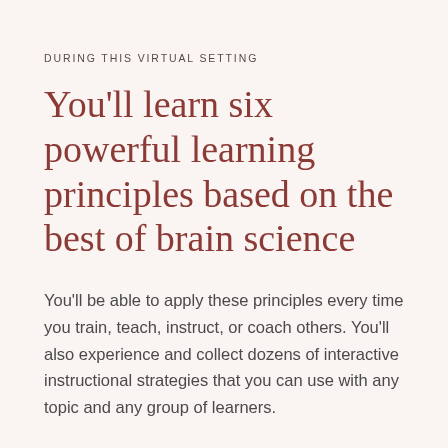DURING THIS VIRTUAL SETTING
You'll learn six powerful learning principles based on the best of brain science
You'll be able to apply these principles every time you train, teach, instruct, or coach others. You'll also experience and collect dozens of interactive instructional strategies that you can use with any topic and any group of learners.